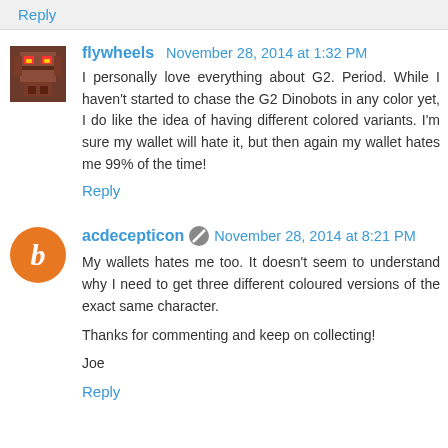Reply
flywheels  November 28, 2014 at 1:32 PM
I personally love everything about G2. Period. While I haven't started to chase the G2 Dinobots in any color yet, I do like the idea of having different colored variants. I'm sure my wallet will hate it, but then again my wallet hates me 99% of the time!
Reply
acdecepticon  November 28, 2014 at 8:21 PM
My wallets hates me too. It doesn't seem to understand why I need to get three different coloured versions of the exact same character.

Thanks for commenting and keep on collecting!

Joe
Reply